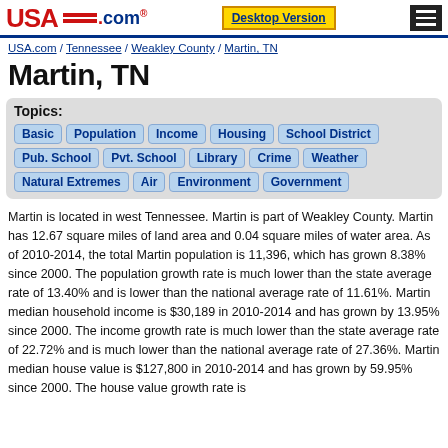USA.com — Desktop Version — Menu
USA.com / Tennessee / Weakley County / Martin, TN
Martin, TN
Topics: Basic Population Income Housing School District Pub. School Pvt. School Library Crime Weather Natural Extremes Air Environment Government
Martin is located in west Tennessee. Martin is part of Weakley County. Martin has 12.67 square miles of land area and 0.04 square miles of water area. As of 2010-2014, the total Martin population is 11,396, which has grown 8.38% since 2000. The population growth rate is much lower than the state average rate of 13.40% and is lower than the national average rate of 11.61%. Martin median household income is $30,189 in 2010-2014 and has grown by 13.95% since 2000. The income growth rate is much lower than the state average rate of 22.72% and is much lower than the national average rate of 27.36%. Martin median house value is $127,800 in 2010-2014 and has grown by 59.95% since 2000. The house value growth rate is